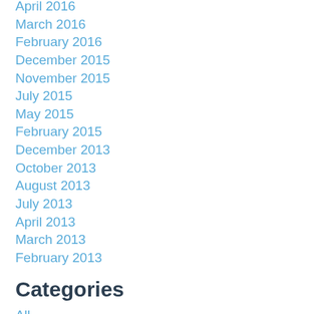April 2016
March 2016
February 2016
December 2015
November 2015
July 2015
May 2015
February 2015
December 2013
October 2013
August 2013
July 2013
April 2013
March 2013
February 2013
Categories
All
1064
Artificial Nails
Atherton